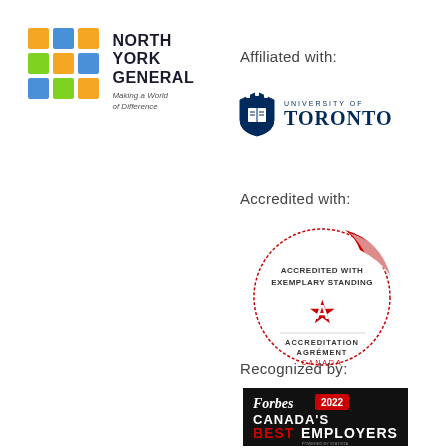[Figure (logo): North York General Hospital logo with coloured grid squares and text 'NORTH YORK GENERAL Making a World of Difference']
Affiliated with:
[Figure (logo): University of Toronto logo with shield and text 'UNIVERSITY OF TORONTO']
Accredited with:
[Figure (logo): Accreditation Canada badge: 'ACCREDITED WITH EXEMPLARY STANDING ACCREDITATION AGRÉMENT CANADA' with red ribbon and star]
Recognized by:
[Figure (logo): Forbes 2022 Canada's Best Employers badge on black background with red accent]